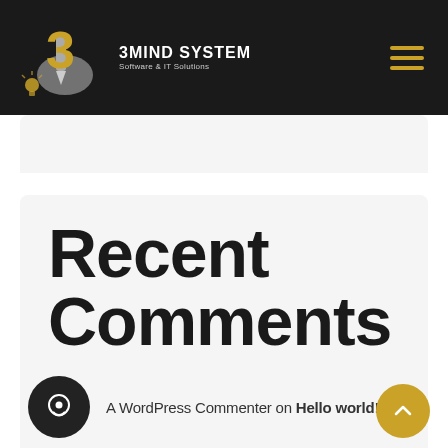3MIND SYSTEM — Software & IT Solutions
Recent Comments
A WordPress Commenter on Hello world!